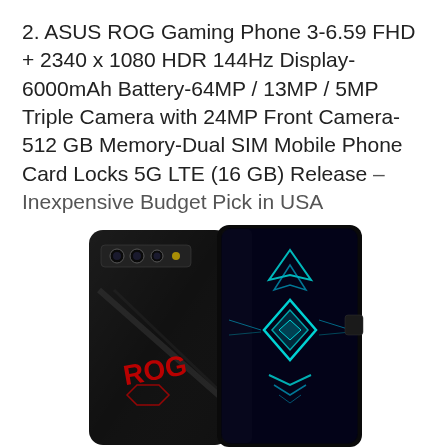2. ASUS ROG Gaming Phone 3-6.59 FHD + 2340 x 1080 HDR 144Hz Display-6000mAh Battery-64MP / 13MP / 5MP Triple Camera with 24MP Front Camera-512 GB Memory-Dual SIM Mobile Phone Card Locks 5G LTE (16 GB) Release – Inexpensive Budget Pick in USA
[Figure (photo): Product photo showing the ASUS ROG Phone 3 from two angles: back view showing triple camera module and ROG logo in red, and front view showing gaming display with teal/blue ROG design on screen. Black device against white background.]